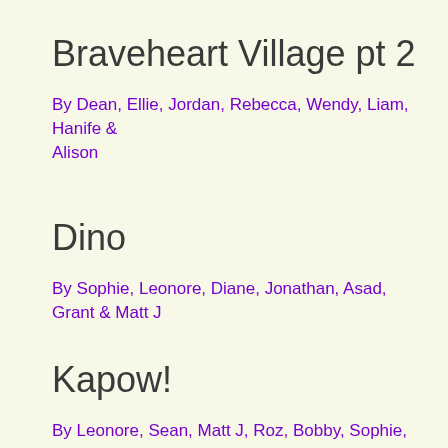Braveheart Village pt 2
By Dean, Ellie, Jordan, Rebecca, Wendy, Liam, Hanife & Alison
Dino
By Sophie, Leonore, Diane, Jonathan, Asad, Grant & Matt J
Kapow!
By Leonore, Sean, Matt J, Roz, Bobby, Sophie, Jack &